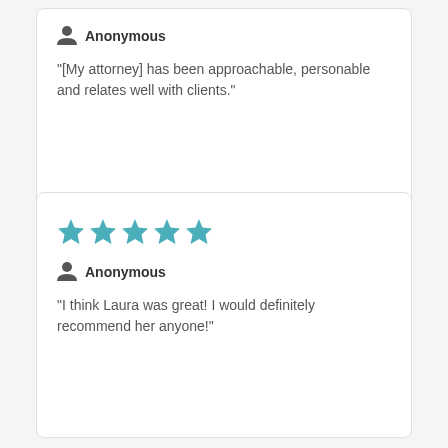Anonymous
"[My attorney] has been approachable, personable and relates well with clients."
[Figure (other): 5 teal/blue star rating icons]
Anonymous
"I think Laura was great! I would definitely recommend her anyone!"